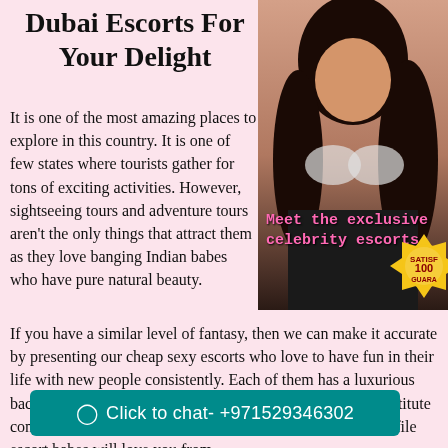Dubai Escorts For Your Delight
[Figure (photo): Woman in lingerie with overlay text 'Meet the exclusive celebrity escorts' and a satisfaction guarantee badge]
It is one of the most amazing places to explore in this country. It is one of few states where tourists gather for tons of exciting activities. However, sightseeing tours and adventure tours aren't the only things that attract them as they love banging Indian babes who have pure natural beauty.
If you have a similar level of fantasy, then we can make it accurate by presenting our cheap sexy escorts who love to have fun in their life with new people consistently. Each of them has a luxurious background so that clients can feel class while enjoying prostitute company. The professional pleasure wi... independent high profile escort babes will love you from
Click to chat- +971529346302